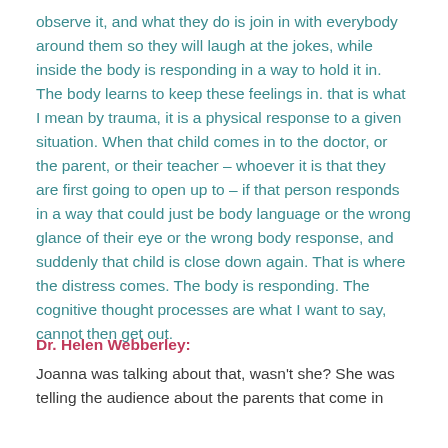observe it, and what they do is join in with everybody around them so they will laugh at the jokes, while inside the body is responding in a way to hold it in. The body learns to keep these feelings in. that is what I mean by trauma, it is a physical response to a given situation. When that child comes in to the doctor, or the parent, or their teacher – whoever it is that they are first going to open up to – if that person responds in a way that could just be body language or the wrong glance of their eye or the wrong body response, and suddenly that child is close down again. That is where the distress comes. The body is responding. The cognitive thought processes are what I want to say, cannot then get out.
Dr. Helen Webberley:
Joanna was talking about that, wasn't she? She was telling the audience about the parents that come in